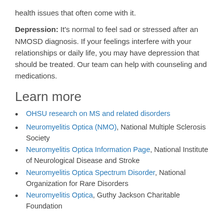health issues that often come with it.
Depression: It's normal to feel sad or stressed after an NMOSD diagnosis. If your feelings interfere with your relationships or daily life, you may have depression that should be treated. Our team can help with counseling and medications.
Learn more
OHSU research on MS and related disorders
Neuromyelitis Optica (NMO), National Multiple Sclerosis Society
Neuromyelitis Optica Information Page, National Institute of Neurological Disease and Stroke
Neuromyelitis Optica Spectrum Disorder, National Organization for Rare Disorders
Neuromyelitis Optica, Guthy Jackson Charitable Foundation